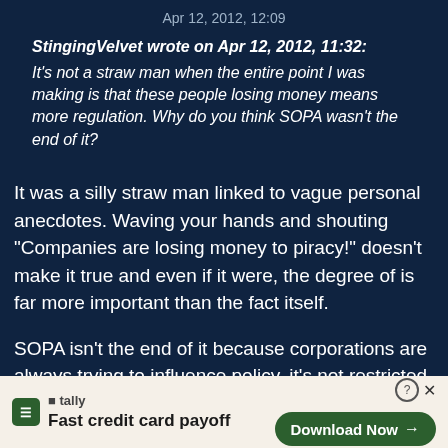Apr 12, 2012, 12:09
StingingVelvet wrote on Apr 12, 2012, 11:32:
It's not a straw man when the entire point I was making is that these people losing money means more regulation. Why do you think SOPA wasn't the end of it?
It was a silly straw man linked to vague personal anecdotes. Waving your hands and shouting "Companies are losing money to piracy!" doesn't make it true and even if it were, the degree of is far more important than the fact itself.
SOPA isn't the end of it because corporations are always trying to influence policy, it's not restricted to media industries either. That's par for the course. There is no correlation of legislation intro... inter...
[Figure (screenshot): Tally app advertisement banner at the bottom of the page. Shows Tally logo (green square with T), text 'Fast credit card payoff', help icon, close button (X), and a green 'Download Now' button with arrow.]